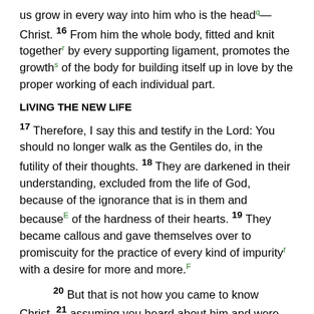us grow in every way into him who is the headᶟ—Christ. 16 From him the whole body, fitted and knit togetherʳ by every supporting ligament, promotes the growthˢ of the body for building itself up in love by the proper working of each individual part.
LIVING THE NEW LIFE
17 Therefore, I say this and testify in the Lord: You should no longer walk as the Gentiles do, in the futility of their thoughts. 18 They are darkened in their understanding, excluded from the life of God, because of the ignorance that is in them and becauseᴱ of the hardness of their hearts. 19 They became callous and gave themselves over to promiscuity for the practice of every kind of impurityᵗ with a desire for more and more.ᴱ
20 But that is not how you came to know Christ, 21 assuming you heard about him and were taught by him, as the truthᵘ is in Jesus, 22 to take offᴳʳᵛ your former way of life,ʷ the old selfˣ that is corrupted by deceitful desires, 23 to be renewed...